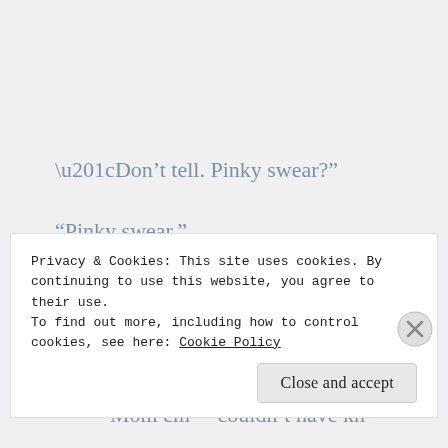“Don’t tell. Pinky swear?”
“Pinky swear.”
“My dad cheated on my mom when I was sixteen with one of our maids. I don’t know why he did that, I hated him for it. She was
Privacy & Cookies: This site uses cookies. By continuing to use this website, you agree to their use.
To find out more, including how to control cookies, see here: Cookie Policy
Close and accept